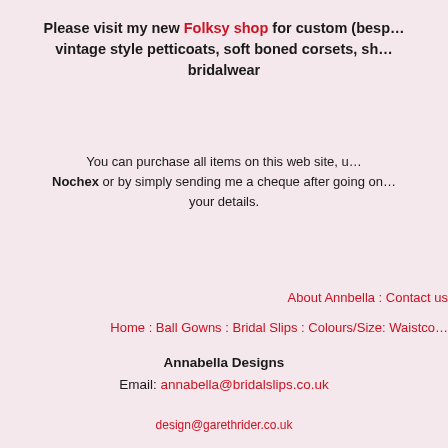Please visit my new Folksy shop for custom (bespoke) vintage style petticoats, soft boned corsets, sh... bridalwear
You can purchase all items on this web site, u... Nochex or by simply sending me a cheque after going on... your details.
About Annbella : Contact us
Home : Ball Gowns : Bridal Slips : Colours/Size: Waistco...
Annabella Designs
Email: annabella@bridalslips.co.uk
design@garethrider.co.uk